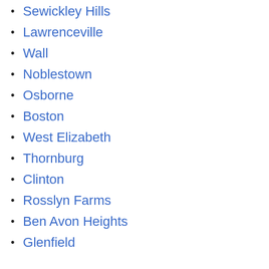Sewickley Hills
Lawrenceville
Wall
Noblestown
Osborne
Boston
West Elizabeth
Thornburg
Clinton
Rosslyn Farms
Ben Avon Heights
Glenfield